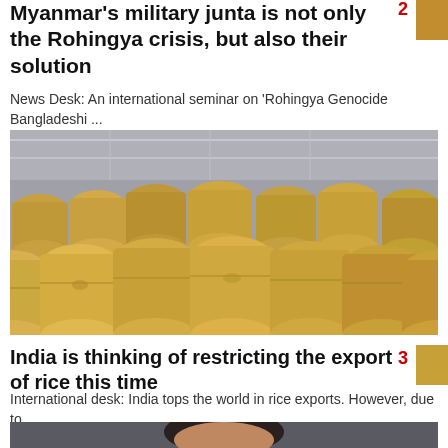Myanmar's military junta is not only the Rohingya crisis, but also their solution
News Desk: An international seminar on 'Rohingya Genocide Bangladeshi ...
[Figure (photo): Stacks of burlap grain sacks piled high in a warehouse]
India is thinking of restricting the export of rice this time
International desk: India tops the world in rice exports. However, due to ...
[Figure (photo): Portrait of a man, partially visible at bottom of page]